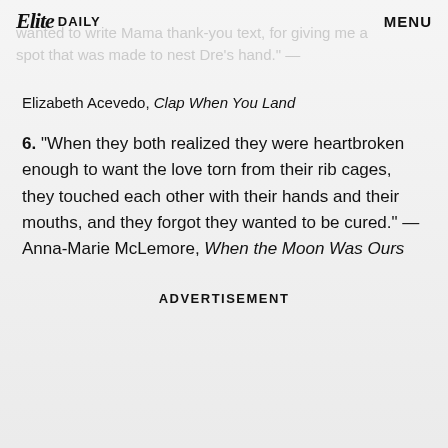Elite DAILY  MENU
wanted to write Mama thank-you text, for giving me a spot that was made to nest Dre's hand." —
Elizabeth Acevedo, Clap When You Land
6. "When they both realized they were heartbroken enough to want the love torn from their rib cages, they touched each other with their hands and their mouths, and they forgot they wanted to be cured." — Anna-Marie McLemore, When the Moon Was Ours
ADVERTISEMENT